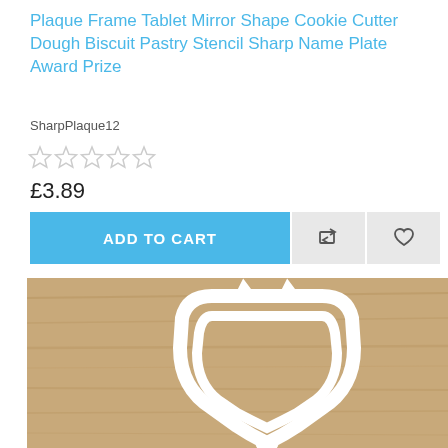Plaque Frame Tablet Mirror Shape Cookie Cutter Dough Biscuit Pastry Stencil Sharp Name Plate Award Prize
SharpPlaque12
[Figure (other): Five empty star rating icons (no stars filled)]
£3.89
[Figure (other): Add to Cart button (blue) with compare and wishlist icon buttons (grey)]
[Figure (photo): Photo of a white plastic plaque/shield-shaped cookie cutter on a wooden surface]